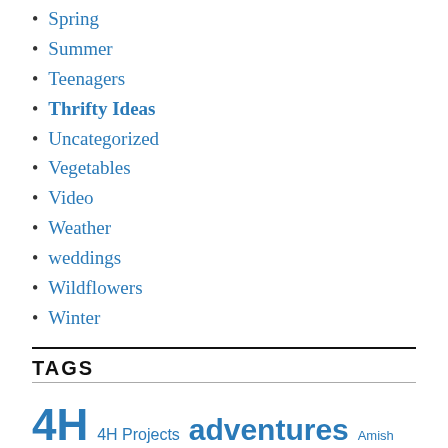Spring
Summer
Teenagers
Thrifty Ideas
Uncategorized
Vegetables
Video
Weather
weddings
Wildflowers
Winter
TAGS
4H 4H Projects adventures Amish Angel Girl apples Autumn birthday cake birthdays blessings breakfast Brownies Children Childrens Christmas Program chocolate chocolate chips Christmas cookies Cool Whip Country Living County Fair cousins cream cheese Critters crock pot